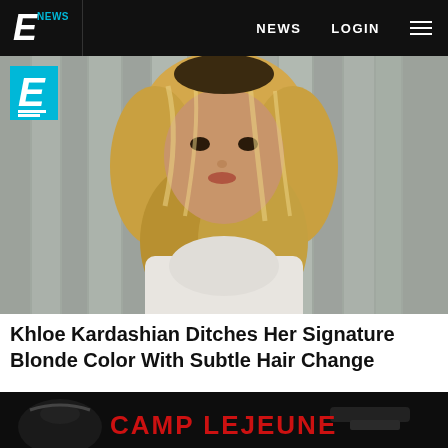E NEWS  |  NEWS  LOGIN
[Figure (photo): Woman with long blonde layered hair wearing a white turtleneck, posed against grey wood-panel background. E! News watermark logo in top-left corner of image.]
Khloe Kardashian Ditches Her Signature Blonde Color With Subtle Hair Change
[Figure (photo): Dark advertisement image showing what appears to be a bag and military/gun imagery with red text reading CAMP LEJEUNE]